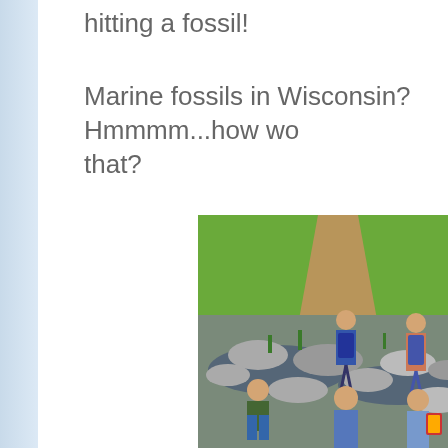hitting a fossil!
Marine fossils in Wisconsin? Hmmmm...how wo that?
[Figure (photo): Children walking across rocks in a shallow stream, with green grass and a dirt path in the background. Several children in dresses, overalls, and casual clothing are navigating stepping stones.]